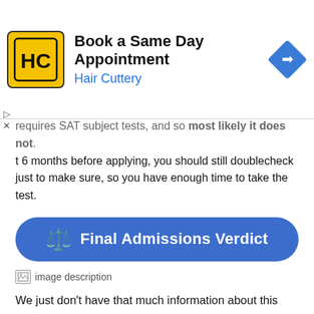[Figure (other): Hair Cuttery advertisement banner: logo with HC letters on yellow background, title 'Book a Same Day Appointment', subtitle 'Hair Cuttery' in blue, blue diamond navigation icon on right]
requires SAT subject tests, and so most likely it does not. ...t 6 months before applying, you should still doublecheck just to make sure, so you have enough time to take the test.
Final Admissions Verdict
[Figure (other): Broken image placeholder with alt text 'image description']
We just don't have that much information about this school. We don't know their admissions rate, their average SAT/ACT scores, or much about what they're looking for in an applicant. If you're interested in this school, we highly recommend you contact their admissions office directly.